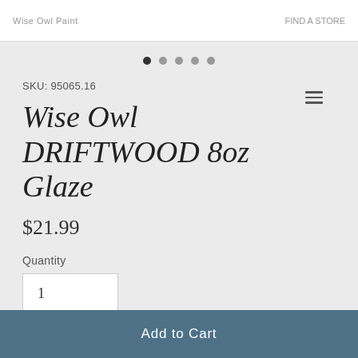top navigation bar with brand name and cart link
[Figure (screenshot): Pagination dots navigation: 5 dots (first filled/active, rest grey) with hamburger menu icon to the right]
SKU: 95065.16
Wise Owl DRIFTWOOD 8oz Glaze
$21.99
Quantity
1
Add to Cart